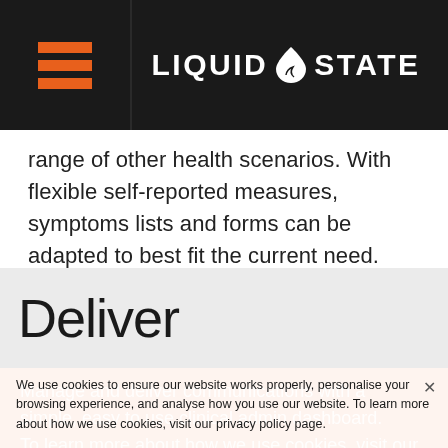LIQUID STATE
range of other health scenarios. With flexible self-reported measures, symptoms lists and forms can be adapted to best fit the current need.
Deliver
Manage and deliver communications with a simple, easy to use clinical admin dashboard. To learn more about how we use cookies, visit our privacy policy page. including messages, documents, forms, videos,
We use cookies to ensure our website works properly, personalise your browsing experience, and analyse how you use our website. To learn more about how we use cookies, visit our privacy policy page.